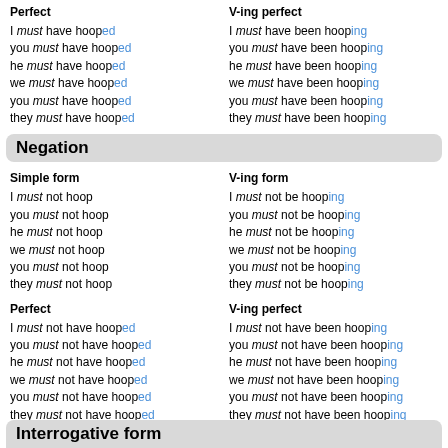Perfect
V-ing perfect
I must have hooped
you must have hooped
he must have hooped
we must have hooped
you must have hooped
they must have hooped
I must have been hooping
you must have been hooping
he must have been hooping
we must have been hooping
you must have been hooping
they must have been hooping
Negation
Simple form
V-ing form
I must not hoop
you must not hoop
he must not hoop
we must not hoop
you must not hoop
they must not hoop
I must not be hooping
you must not be hooping
he must not be hooping
we must not be hooping
you must not be hooping
they must not be hooping
Perfect
V-ing perfect
I must not have hooped
you must not have hooped
he must not have hooped
we must not have hooped
you must not have hooped
they must not have hooped
I must not have been hooping
you must not have been hooping
he must not have been hooping
we must not have been hooping
you must not have been hooping
they must not have been hooping
Interrogative form